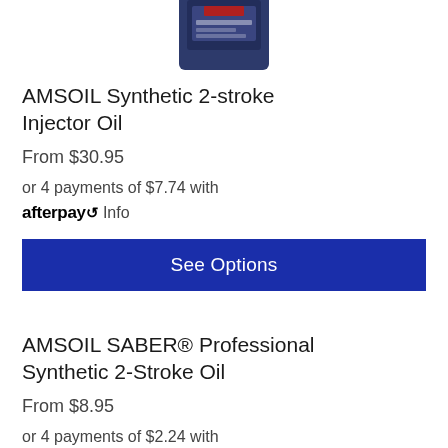[Figure (photo): Partial top view of an AMSOIL oil product bottle/container in dark blue packaging]
AMSOIL Synthetic 2-stroke Injector Oil
From $30.95
or 4 payments of $7.74 with afterpay Info
See Options
AMSOIL SABER® Professional Synthetic 2-Stroke Oil
From $8.95
or 4 payments of $2.24 with afterpay Info